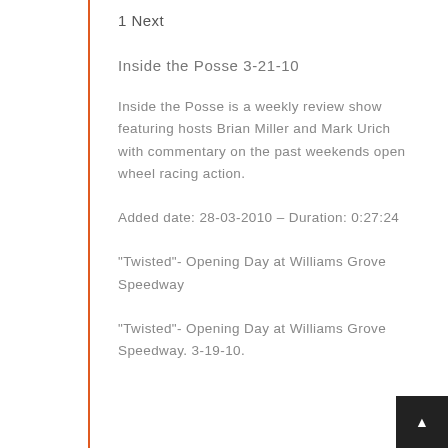1 Next
Inside the Posse 3-21-10
Inside the Posse is a weekly review show featuring hosts Brian Miller and Mark Urich with commentary on the past weekends open wheel racing action.
Added date: 28-03-2010 – Duration: 0:27:24
"Twisted"- Opening Day at Williams Grove Speedway
"Twisted"- Opening Day at Williams Grove Speedway. 3-19-10.